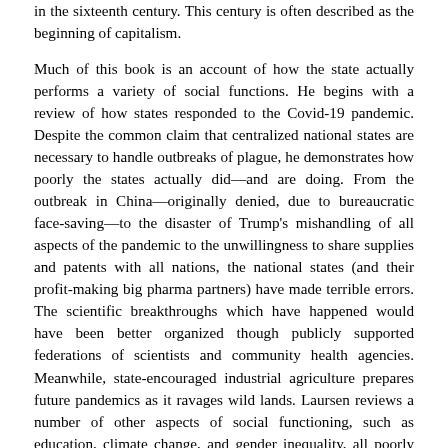in the sixteenth century. This century is often described as the beginning of capitalism.
Much of this book is an account of how the state actually performs a variety of social functions. He begins with a review of how states responded to the Covid-19 pandemic. Despite the common claim that centralized national states are necessary to handle outbreaks of plague, he demonstrates how poorly the states actually did—and are doing. From the outbreak in China—originally denied, due to bureaucratic face-saving—to the disaster of Trump's mishandling of all aspects of the pandemic to the unwillingness to share supplies and patents with all nations, the national states (and their profit-making big pharma partners) have made terrible errors. The scientific breakthroughs which have happened would have been better organized though publicly supported federations of scientists and community health agencies. Meanwhile, state-encouraged industrial agriculture prepares future pandemics as it ravages wild lands. Laursen reviews a number of other aspects of social functioning, such as education, climate change, and gender inequality, all poorly managed by the state. He focuses on the promotion of a state-supported and -supporting core identity group—such as the whites in the United States or the Han people in China. Such groups, while the majority of the oppressed population, are taught to identify with the ruling elites. They stand